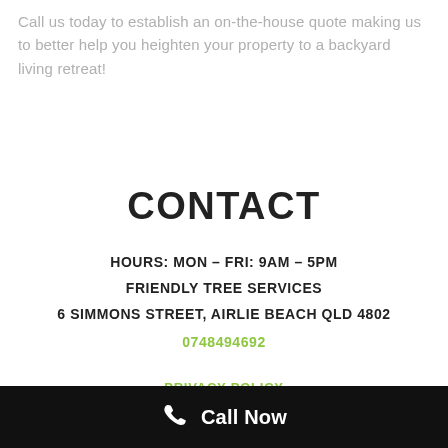Call us today to establish an on-the-house quote making us to better help you heighten your property to a backyard living retreat!
CONTACT
HOURS: MON – FRI: 9AM – 5PM
FRIENDLY TREE SERVICES
6 SIMMONS STREET, AIRLIE BEACH QLD 4802
0748494692
PRIVACY POLICY
Call Now